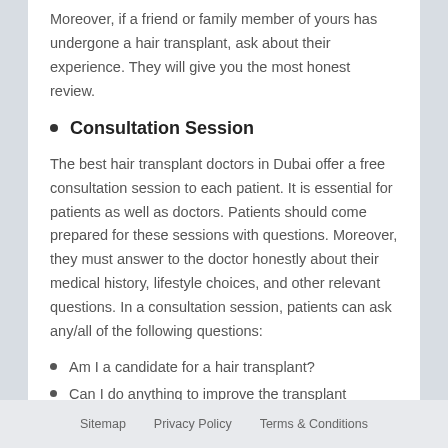Moreover, if a friend or family member of yours has undergone a hair transplant, ask about their experience. They will give you the most honest review.
Consultation Session
The best hair transplant doctors in Dubai offer a free consultation session to each patient. It is essential for patients as well as doctors. Patients should come prepared for these sessions with questions. Moreover, they must answer to the doctor honestly about their medical history, lifestyle choices, and other relevant questions. In a consultation session, patients can ask any/all of the following questions:
Am I a candidate for a hair transplant?
Can I do anything to improve the transplant results?
Which hair transplant technique is the best for my
Sitemap    Privacy Policy    Terms & Conditions